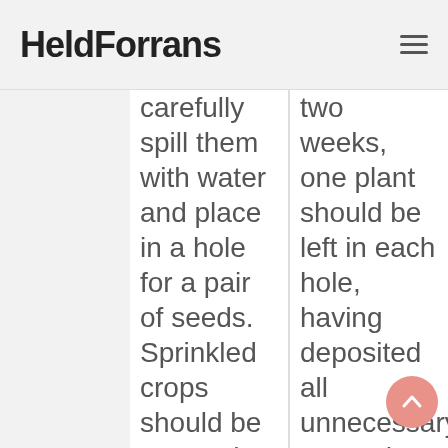HeldForrans
carefully spill them with water and place in a hole for a pair of seeds. Sprinkled crops should be covered with a film, which will accelerate the germination of seeds
two weeks, one plant should be left in each hole, having deposited all unnecessary to another place. Flowering occurs a month and a half after germination